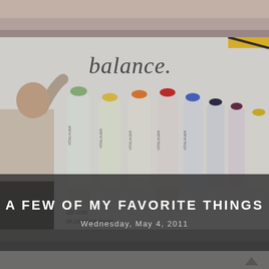[Figure (photo): Top strip photo showing feet/shoes of people standing on a sidewalk or street, blurred background]
[Figure (photo): Large photo of a woman posing next to a Vöslauer Balance water bottles advertisement billboard showing multiple colorful water bottles and text 'balance.' with website addresses uer.com and ok.com/voeslauer]
A FEW OF MY FAVORITE THINGS
Wednesday, May 4, 2011